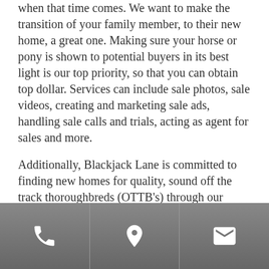when that time comes. We want to make the transition of your family member, to their new home, a great one. Making sure your horse or pony is shown to potential buyers in its best light is our top priority, so that you can obtain top dollar. Services can include sale photos, sale videos, creating and marketing sale ads, handling sale calls and trials, acting as agent for sales and more.
Additionally, Blackjack Lane is committed to finding new homes for quality, sound off the track thoroughbreds (OTTB's) through our OTTB Program.
[Figure (other): Mobile app footer navigation bar with three icon buttons: phone, location pin, and envelope/mail, on a dark grey gradient background]